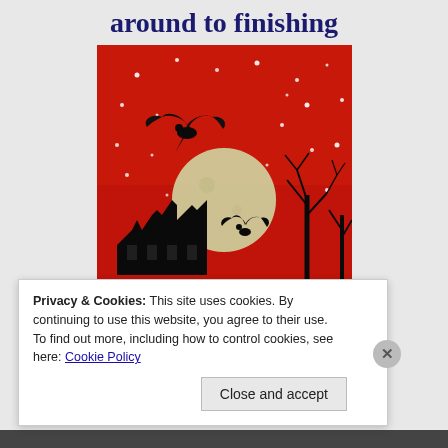around to finishing
[Figure (illustration): Book cover with red sky background, full moon, black silhouettes of ravens flying, a haunted mansion, and bare trees. Spooky Halloween-style artwork.]
Privacy & Cookies: This site uses cookies. By continuing to use this website, you agree to their use.
To find out more, including how to control cookies, see here: Cookie Policy
Close and accept